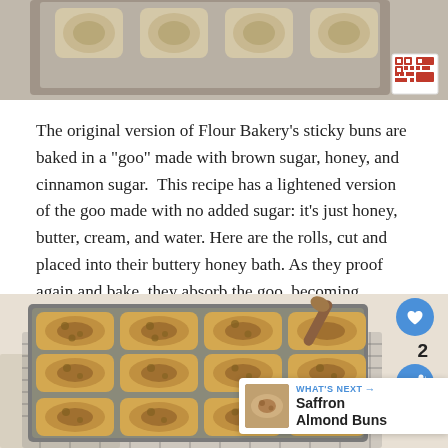[Figure (photo): Top portion of a baking pan with sticky buns, overhead view, partially visible. A QR code badge is in the bottom-right corner of the image.]
The original version of Flour Bakery’s sticky buns are baked in a “goo” made with brown sugar, honey, and cinnamon sugar. This recipe has a lightened version of the goo made with no added sugar: it’s just honey, butter, cream, and water. Here are the rolls, cut and placed into their buttery honey bath. As they proof again and bake, they absorb the goo, becoming wonderfully sticky-sweet.
[Figure (photo): Overhead photo of a rectangular baking pan filled with 12 sticky buns topped with nuts, placed on a wire cooling rack. A wooden spoon rests in the pan. Heart and share buttons are visible on the right side. A 'What's Next' banner in the bottom-right shows 'Saffron Almond Buns'.]